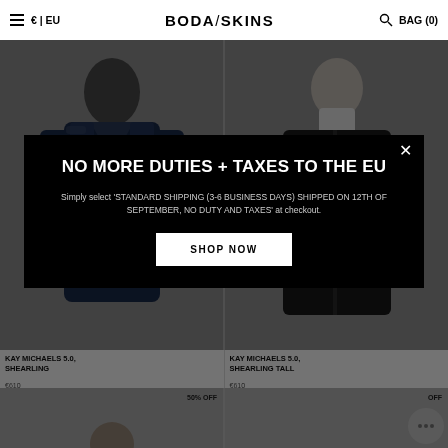≡  € | EU    BODA/SKINS    🔍 BAG (0)
[Figure (photo): Two male models wearing leather shearling jackets against a grey background. Left model wears a dark navy shearling jacket. Right model wears a black leather jacket with turtleneck.]
KAY MICHAELS 5.0, SHEARLING    €610  KAY MICHAELS 5.0, SHEARLING TALL    €610
[Figure (screenshot): Modal popup overlay on black background with white text: NO MORE DUTIES + TAXES TO THE EU. Body text: Simply select 'STANDARD SHIPPING (3-6 BUSINESS DAYS) SHIPPED ON 12TH OF SEPTEMBER, NO DUTY AND TAXES' at checkout. White button: SHOP NOW. Close X button top right.]
[Figure (photo): Two product thumbnails at bottom of page, partially visible. Left shows 50% OFF badge. Right shows OFF badge. Grey circular chat widget visible bottom right.]